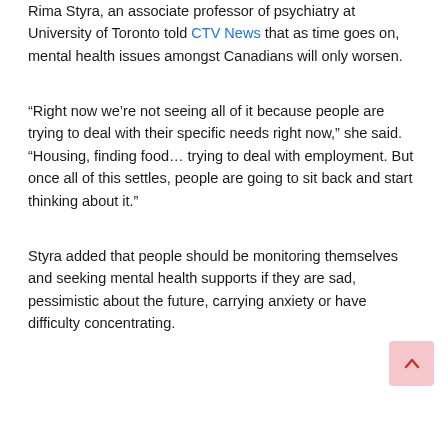Rima Styra, an associate professor of psychiatry at University of Toronto told CTV News that as time goes on, mental health issues amongst Canadians will only worsen.
“Right now we’re not seeing all of it because people are trying to deal with their specific needs right now,” she said. “Housing, finding food… trying to deal with employment. But once all of this settles, people are going to sit back and start thinking about it.”
Styra added that people should be monitoring themselves and seeking mental health supports if they are sad, pessimistic about the future, carrying anxiety or have difficulty concentrating.